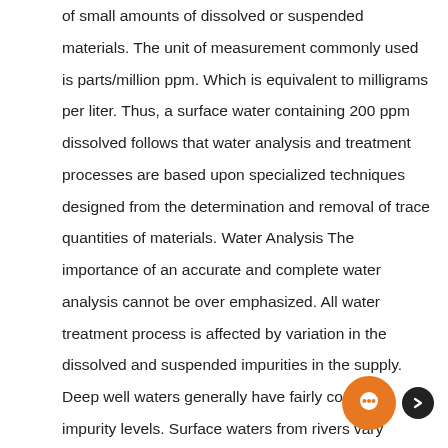of small amounts of dissolved or suspended materials. The unit of measurement commonly used is parts/million ppm. Which is equivalent to milligrams per liter. Thus, a surface water containing 200 ppm dissolved follows that water analysis and treatment processes are based upon specialized techniques designed from the determination and removal of trace quantities of materials. Water Analysis The importance of an accurate and complete water analysis cannot be over emphasized. All water treatment process is affected by variation in the dissolved and suspended impurities in the supply. Deep well waters generally have fairly constant impurity levels. Surface waters from rivers vary widely in mineral and turbidity levels. Most water laboratories state the impurity levels as cat ions and anions in terms of calcium carbonate equivalents, or CaCO3 Calcium carbonate is used as the common denominator it has a molecular weight of 100, which facilitates calculations. In this ionic analysis method, total cat ions equal